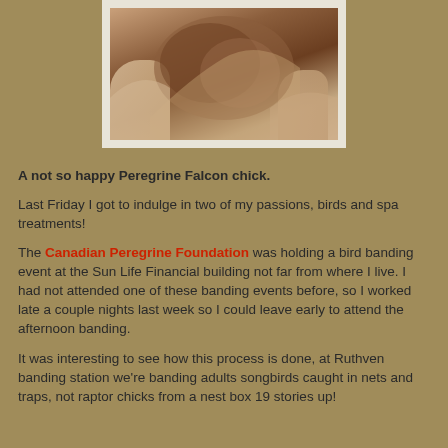[Figure (photo): Close-up photo of hands holding a Peregrine Falcon chick, with white border frame.]
A not so happy Peregrine Falcon chick.
Last Friday I got to indulge in two of my passions, birds and spa treatments!
The Canadian Peregrine Foundation was holding a bird banding event at the Sun Life Financial building not far from where I live. I had not attended one of these banding events before, so I worked late a couple nights last week so I could leave early to attend the afternoon banding.
It was interesting to see how this process is done, at Ruthven banding station we're banding adults songbirds caught in nets and traps, not raptor chicks from a nest box 19 stories up!